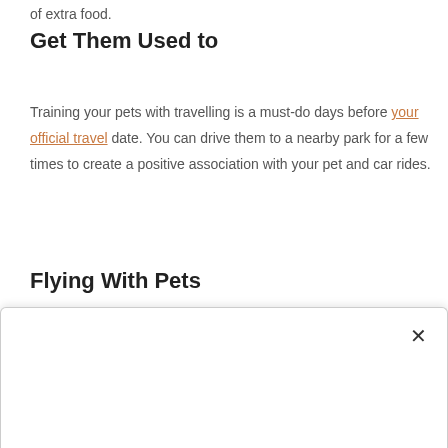of extra food.
Get Them Used to
Training your pets with travelling is a must-do days before your official travel date. You can drive them to a nearby park for a few times to create a positive association with your pet and car rides.
Flying With Pets
Before even getting into the plane make sure that you take your pets for a relaxing walk. You can also leave ample